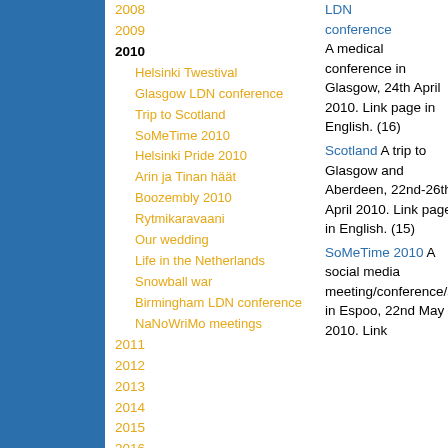2008
2009
2010
Helsinki Twestival
Glasgow LDN conference
Trip to Scotland
SoMeTime 2010
Helsinki Pride 2010
Arin ja Tinan häät
Boozembly 2010
Rytmikaravaani
Our wedding
Life in the Netherlands
Snowball war
Birmingham LDN conference
NaNoWriMo meetings
2011
2012
2013
2014
2015
2016
2017
2019
2020
LDN conference A medical conference in Glasgow, 24th April 2010. Link page in English. (16)
Scotland A trip to Glasgow and Aberdeen, 22nd-26th April 2010. Link page in English. (15)
SoMeTime 2010 A social media meeting/conference/semi in Espoo, 22nd May 2010. Link